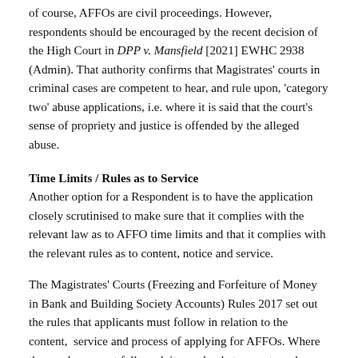of course, AFFOs are civil proceedings. However, respondents should be encouraged by the recent decision of the High Court in DPP v. Mansfield [2021] EWHC 2938 (Admin). That authority confirms that Magistrates' courts in criminal cases are competent to hear, and rule upon, 'category two' abuse applications, i.e. where it is said that the court's sense of propriety and justice is offended by the alleged abuse.
Time Limits / Rules as to Service
Another option for a Respondent is to have the application closely scrutinised to make sure that it complies with the relevant law as to AFFO time limits and that it complies with the relevant rules as to content, notice and service.
The Magistrates' Courts (Freezing and Forfeiture of Money in Bank and Building Society Accounts) Rules 2017 set out the rules that applicants must follow in relation to the content,  service and process of applying for AFFOs. Where those rules are not followed, it may be that a court can be persuaded that an application should fail. Where of those rules and the implications of